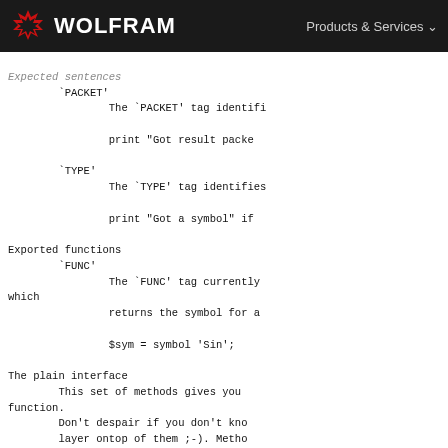WOLFRAM  Products & Services
Expected sentences
        `PACKET'
                The `PACKET' tag identifi

                print "Got result packe

        `TYPE'
                The `TYPE' tag identifies

                print "Got a symbol" if

Exported functions
        `FUNC'
                The `FUNC' tag currently
which
                returns the symbol for a

                $sym = symbol 'Sin';

The plain interface
        This set of methods gives you
function.
        Don't despair if you don't kno
        layer ontop of them ;-). Metho
        behave different than the corr
        MathLink manual for details.

        `new'